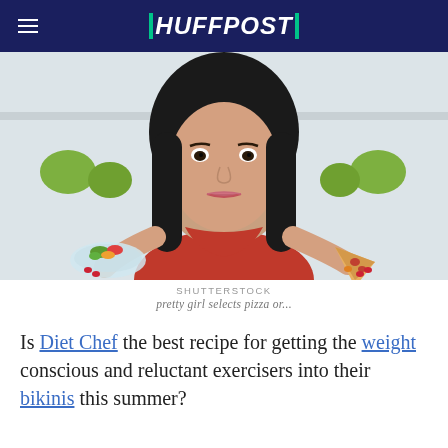HUFFPOST
[Figure (photo): Woman in red top holding a salad bowl in one hand and a slice of pizza in the other, standing in a kitchen, looking at the camera.]
SHUTTERSTOCK
pretty girl selects pizza or...
Is Diet Chef the best recipe for getting the weight conscious and reluctant exercisers into their bikinis this summer?